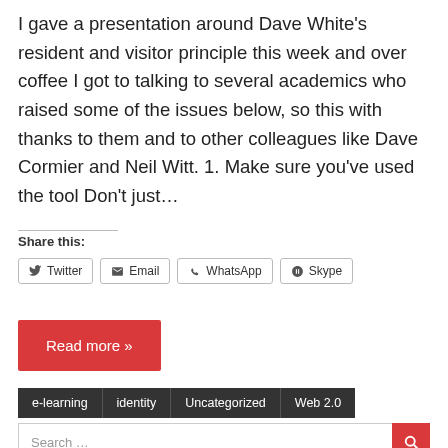I gave a presentation around Dave White's resident and visitor principle this week and over coffee I got to talking to several academics who raised some of the issues below, so this with thanks to them and to other colleagues like Dave Cormier and Neil Witt. 1. Make sure you've used the tool Don't just…
Share this:
Twitter  Email  WhatsApp  Skype
Read more »
e-learning  identity  Uncategorized  Web 2.0
Search …